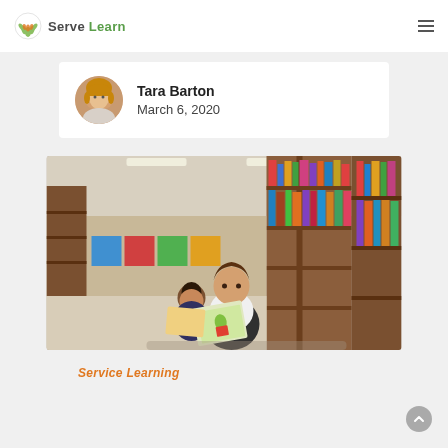Serve Learn
Tara Barton
March 6, 2020
[Figure (photo): Two young children sitting on a library floor leaning against a wooden bookshelf, reading picture books. A large library with shelves of colorful books is visible in the background.]
Service Learning